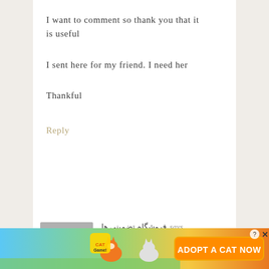I want to comment so thank you that it is useful

I sent here for my friend. I need her

Thankful
Reply
فروشگاه تضمینی ها says
SEPTEMBER 11, 2019 AT 5:16 AM
[Figure (illustration): Colorful cat game advertisement banner at bottom of page with cartoon cats and text 'ADOPT A CAT NOW']